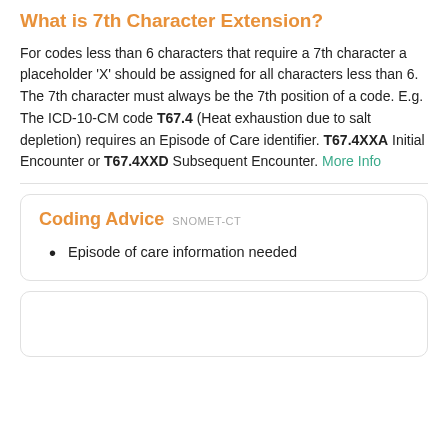What is 7th Character Extension?
For codes less than 6 characters that require a 7th character a placeholder 'X' should be assigned for all characters less than 6. The 7th character must always be the 7th position of a code. E.g. The ICD-10-CM code T67.4 (Heat exhaustion due to salt depletion) requires an Episode of Care identifier. T67.4XXA Initial Encounter or T67.4XXD Subsequent Encounter. More Info
Coding Advice SNOMET-CT
Episode of care information needed